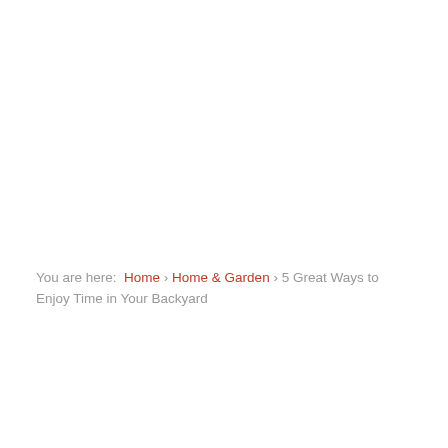You are here:  Home › Home & Garden › 5 Great Ways to Enjoy Time in Your Backyard